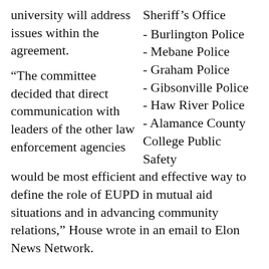university will address issues within the agreement.
“The committee decided that direct communication with leaders of the other law enforcement agencies would be most efficient and effective way to define the role of EUPD in mutual aid situations and in advancing community relations,” House wrote in an email to Elon News Network.
Sheriff’s Office
- Burlington Police
- Mebane Police
- Graham Police
- Gibsonville Police
- Haw River Police
- Alamance County College Public Safety
The new plans and proposed amendment comes after the annual agreement came under scrutiny when campus police responded to multiple requests for aid at the Confederate monument in Graham last summer.